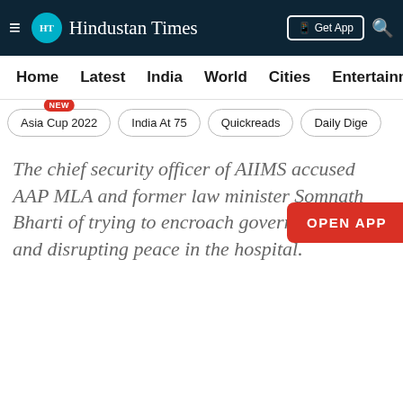HT Hindustan Times | Get App
Home | Latest | India | World | Cities | Entertainment
Asia Cup 2022 NEW | India At 75 | Quickreads | Daily Dige
The chief security officer of AIIMS accused AAP MLA and former law minister Somnath Bharti of trying to encroach government land and disrupting peace in the hospital.
OPEN APP